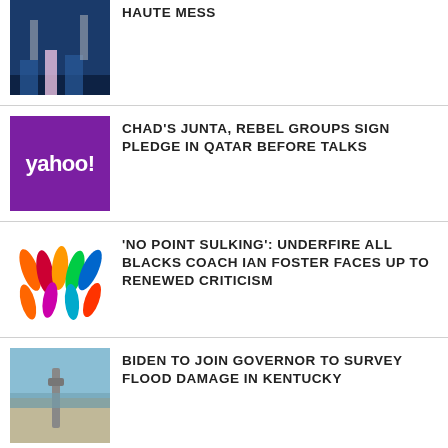[Figure (photo): Stage performance with blue lighting, performers on stage]
HAUTE MESS
[Figure (logo): Yahoo purple logo]
CHAD'S JUNTA, REBEL GROUPS SIGN PLEDGE IN QATAR BEFORE TALKS
[Figure (photo): Colorful abstract All Blacks illustration]
'NO POINT SULKING': UNDERFIRE ALL BLACKS COACH IAN FOSTER FACES UP TO RENEWED CRITICISM
[Figure (photo): Aerial view of flood damage with pipe visible]
BIDEN TO JOIN GOVERNOR TO SURVEY FLOOD DAMAGE IN KENTUCKY
[Figure (photo): Anne Heche wearing a pink hat against dark background]
ANNE HECHE IS IN STABLE CONDITION AFTER A FIERY CAR CRASH AT A LOS ANGELES HOME